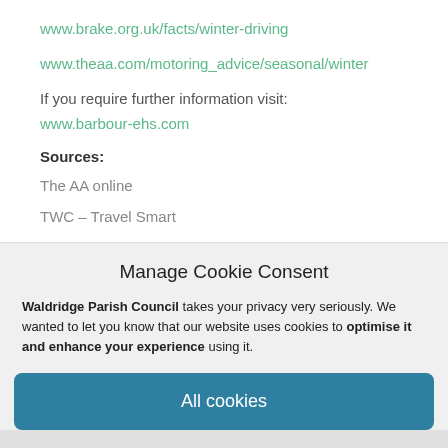www.brake.org.uk/facts/winter-driving
www.theaa.com/motoring_advice/seasonal/winter
If you require further information visit:
www.barbour-ehs.com
Sources:
The AA online
TWC – Travel Smart
Manage Cookie Consent
Waldridge Parish Council takes your privacy very seriously. We wanted to let you know that our website uses cookies to optimise it and enhance your experience using it.
All cookies